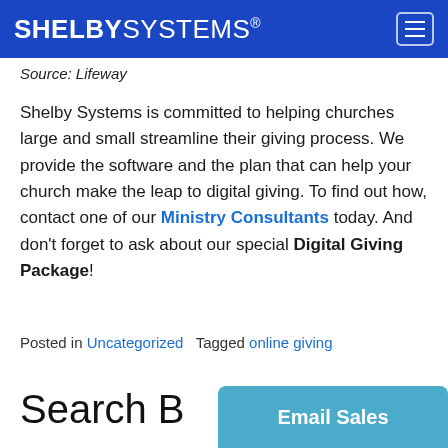SHELBY SYSTEMS®
Source: Lifeway
Shelby Systems is committed to helping churches large and small streamline their giving process. We provide the software and the plan that can help your church make the leap to digital giving. To find out how, contact one of our Ministry Consultants today. And don't forget to ask about our special Digital Giving Package!
Posted in Uncategorized   Tagged online giving
Search B
Email Sales